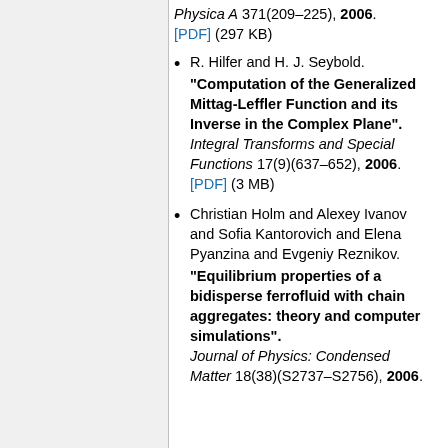Physica A 371(209–225), 2006. [PDF] (297 KB)
R. Hilfer and H. J. Seybold. "Computation of the Generalized Mittag-Leffler Function and its Inverse in the Complex Plane". Integral Transforms and Special Functions 17(9)(637–652), 2006. [PDF] (3 MB)
Christian Holm and Alexey Ivanov and Sofia Kantorovich and Elena Pyanzina and Evgeniy Reznikov. "Equilibrium properties of a bidisperse ferrofluid with chain aggregates: theory and computer simulations". Journal of Physics: Condensed Matter 18(38)(S2737–S2756), 2006.